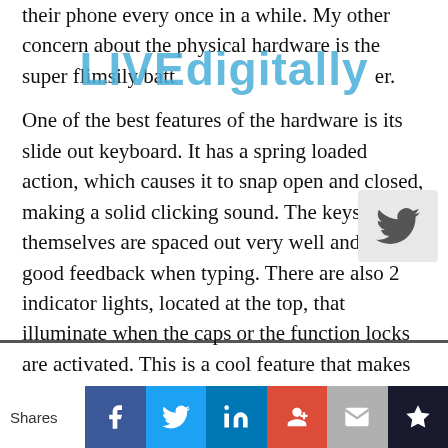their phone every once in a while. My other concern about the physical hardware is the super flimsily battery cover.
[Figure (logo): LIVEdigitally watermark text in blue]
One of the best features of the hardware is its slide out keyboard. It has a spring loaded action, which causes it to snap open and closed, making a solid clicking sound. The keys themselves are spaced out very well and give good feedback when typing. There are also 2 indicator lights, located at the top, that illuminate when the caps or the function locks are activated. This is a cool feature that makes typing on this device, that much easier.
The one down side about having a slide out keyboard and no keypad on the face of the device is that it is extremely difficult to type with one hand. There is an onscreen keyboard that lets a user do so, but the keyboard that comes standard
Shares | Facebook | Twitter | LinkedIn | Google+ | Mail | Crown